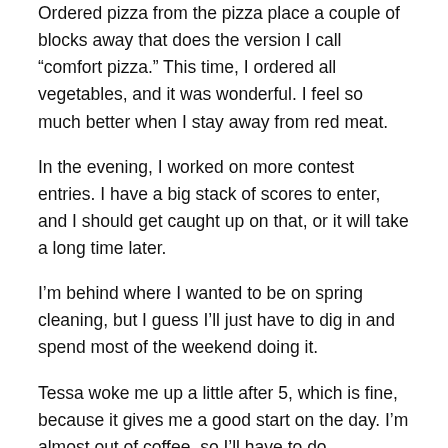Ordered pizza from the pizza place a couple of blocks away that does the version I call “comfort pizza.” This time, I ordered all vegetables, and it was wonderful. I feel so much better when I stay away from red meat.
In the evening, I worked on more contest entries. I have a big stack of scores to enter, and I should get caught up on that, or it will take a long time later.
I’m behind where I wanted to be on spring cleaning, but I guess I’ll just have to dig in and spend most of the weekend doing it.
Tessa woke me up a little after 5, which is fine, because it gives me a good start on the day. I’m almost out of coffee, so I’ll have to do something about that today.
Sunday is the Spring Equinox, and I am not prepared.